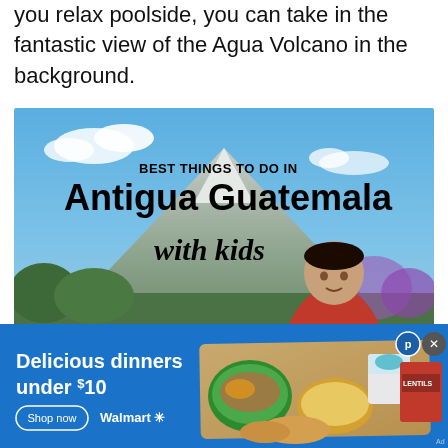you relax poolside, you can take in the fantastic view of the Agua Volcano in the background.
[Figure (photo): Photo with text overlay reading 'BEST THINGS TO DO IN Antigua Guatemala with kids', showing a volcano in the background and a child in a red jacket in the foreground.]
[Figure (photo): Walmart advertisement banner with blue background. Text: 'Delicious dinners under $10'. Shows food items on a wooden board including salad, soup bowls, a cup, and a package. Buttons: 'Shop now' and 'Walmart' logo with spark symbol.]